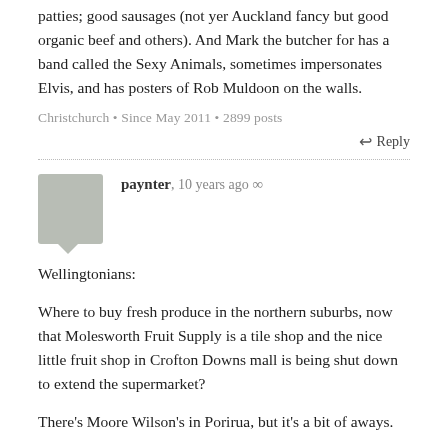patties; good sausages (not yer Auckland fancy but good organic beef and others). And Mark the butcher for has a band called the Sexy Animals, sometimes impersonates Elvis, and has posters of Rob Muldoon on the walls.
Christchurch • Since May 2011 • 2899 posts
↩ Reply
[Figure (illustration): User avatar placeholder image (grey speech bubble shape)]
paynter, 10 years ago ∞
Wellingtonians:
Where to buy fresh produce in the northern suburbs, now that Molesworth Fruit Supply is a tile shop and the nice little fruit shop in Crofton Downs mall is being shut down to extend the supermarket?
There's Moore Wilson's in Porirua, but it's a bit of aways.
Thanks.
Gordon